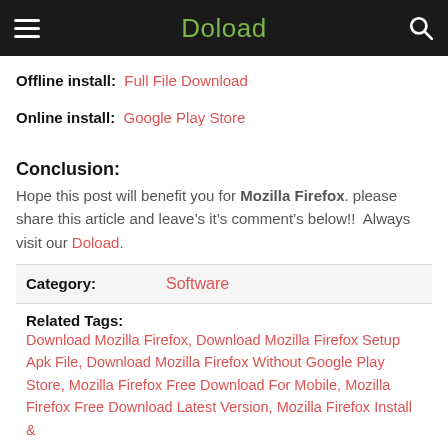Doload
Offline install: Full File Download
Online install: Google Play Store
Conclusion:
Hope this post will benefit you for Mozilla Firefox. please share this article and leave’s it’s comment’s below!!  Always visit our Doload.
| Category: | Software |
| --- | --- |
Related Tags: Download Mozilla Firefox, Download Mozilla Firefox Setup Apk File, Download Mozilla Firefox Without Google Play Store, Mozilla Firefox Free Download For Mobile, Mozilla Firefox Free Download Latest Version, Mozilla Firefox Install &